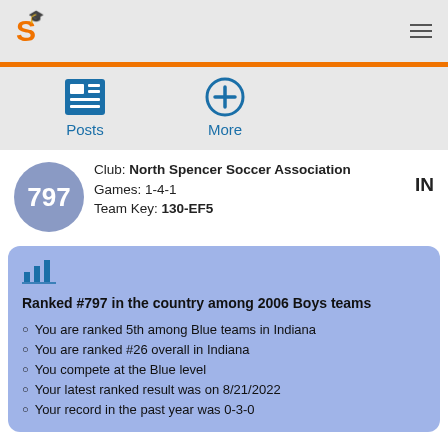S [logo] [hamburger menu]
[Figure (infographic): Posts icon (grid/list icon in blue) with label 'Posts' below]
[Figure (infographic): More icon (circle with plus sign in blue) with label 'More' below]
Club: North Spencer Soccer Association
Games: 1-4-1
Team Key: 130-EF5
IN
797
[Figure (infographic): Bar chart icon in blue/teal]
Ranked #797 in the country among 2006 Boys teams
You are ranked 5th among Blue teams in Indiana
You are ranked #26 overall in Indiana
You compete at the Blue level
Your latest ranked result was on 8/21/2022
Your record in the past year was 0-3-0